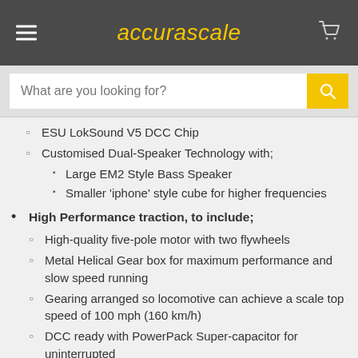accurascale
ESU LokSound V5 DCC Chip
Customised Dual-Speaker Technology with;
Large EM2 Style Bass Speaker
Smaller 'iphone' style cube for higher frequencies
High Performance traction, to include;
High-quality five-pole motor with two flywheels
Metal Helical Gear box for maximum performance and slow speed running
Gearing arranged so locomotive can achieve a scale top speed of 100 mph (160 km/h)
DCC ready with PowerPack Super-capacitor for uninterrupted